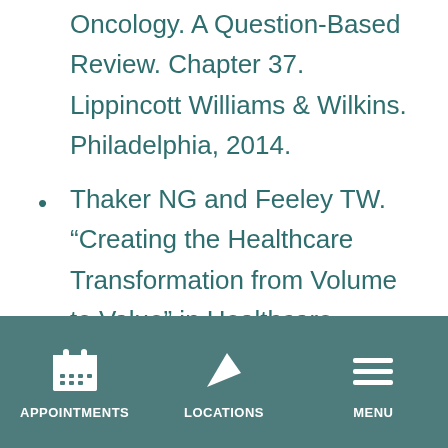Oncology. A Question-Based Review. Chapter 37. Lippincott Williams & Wilkins. Philadelphia, 2014.
Thaker NG and Feeley TW. “Creating the Healthcare Transformation from Volume to Value” in Healthcare Delivery Redesign.” Creating the Healthcare Delivery Transformation. Rutgers University Press. 2015.
Thaker NG. Malignant Pleural Mesothelioma. Pocket Radiation Oncology.
APPOINTMENTS   LOCATIONS   MENU